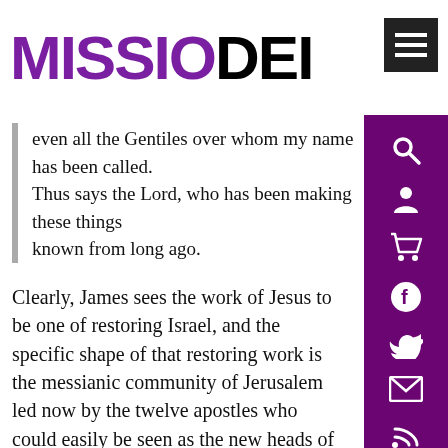MISSIO DEI
even all the Gentiles over whom my name has been called.
Thus says the Lord, who has been making these things known from long ago.
Clearly, James sees the work of Jesus to be one of restoring Israel, and the specific shape of that restoring work is the messianic community of Jerusalem led now by the twelve apostles who could easily be seen as the new heads of the twelve tribes of Israel.
Now a slight clarification of the Christian